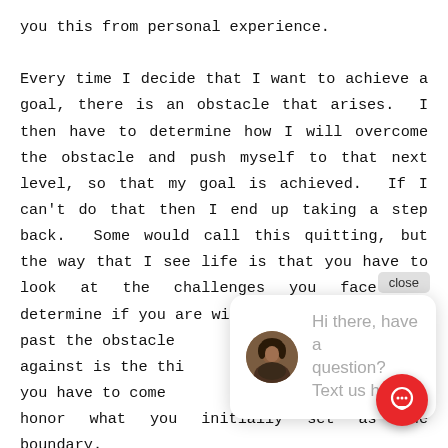you this from personal experience.

Every time I decide that I want to achieve a goal, there is an obstacle that arises.  I then have to determine how I will overcome the obstacle and push myself to that next level, so that my goal is achieved.  If I can't do that then I end up taking a step back.  Some would call this quitting, but the way that I see life is that you have to look at the challenges you face and determine if you are willing to keep p... past the obstacle... against is the thi... you have to come... honor what you initially set as the boundary.

One of my boundaries, again, is my family.  I have w... very hard as a wife and a mother to have a healthy family.  I
[Figure (screenshot): Chat widget overlay with close button, avatar of a woman, and message 'Hi there, have a question? Text us here.' with a red chat FAB button.]